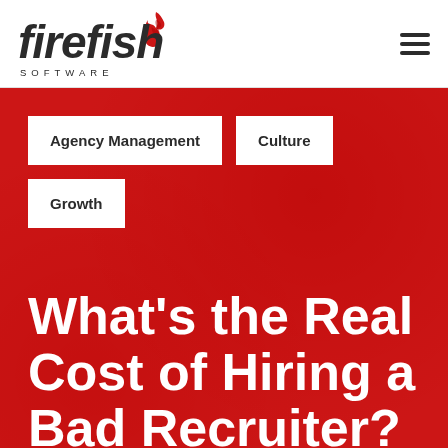[Figure (logo): Firefish Software logo with flame icon and italic wordmark]
Agency Management
Culture
Growth
What's the Real Cost of Hiring a Bad Recruiter?